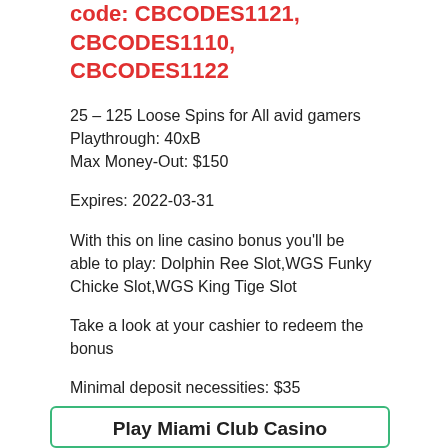code: CBCODES1121, CBCODES1110, CBCODES1122
25 – 125 Loose Spins for All avid gamers
Playthrough: 40xB
Max Money-Out: $150
Expires: 2022-03-31
With this on line casino bonus you'll be able to play: Dolphin Ree Slot,WGS Funky Chicke Slot,WGS King Tige Slot
Take a look at your cashier to redeem the bonus
Minimal deposit necessities: $35
Play Miami Club Casino